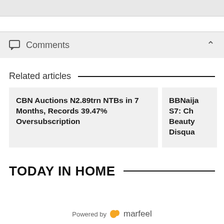Comments
Related articles
CBN Auctions N2.89trn NTBs in 7 Months, Records 39.47% Oversubscription
BBNaija S7: Ch Beauty Disqua
TODAY IN HOME
Powered by marfeel